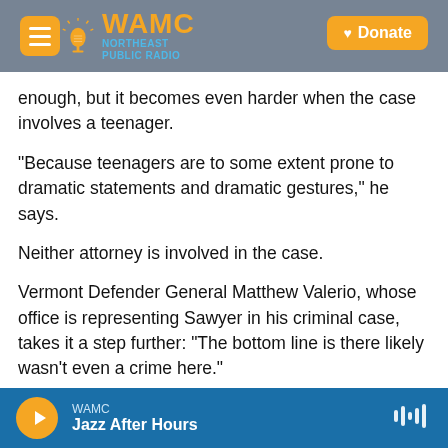[Figure (screenshot): WAMC Northeast Public Radio website header with logo, menu button, and Donate button]
enough, but it becomes even harder when the case involves a teenager.
"Because teenagers are to some extent prone to dramatic statements and dramatic gestures," he says.
Neither attorney is involved in the case.
Vermont Defender General Matthew Valerio, whose office is representing Sawyer in his criminal case, takes it a step further: "The bottom line is there likely wasn't even a crime here."
WAMC Jazz After Hours